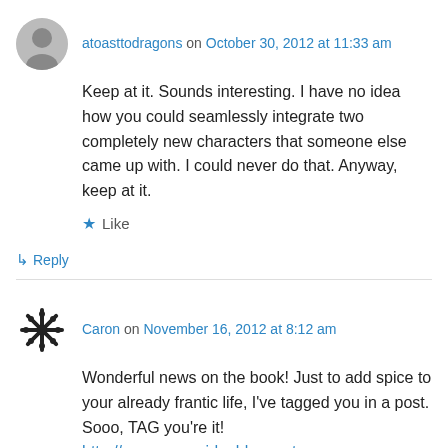atoasttodragons on October 30, 2012 at 11:33 am
Keep at it. Sounds interesting. I have no idea how you could seamlessly integrate two completely new characters that someone else came up with. I could never do that. Anyway, keep at it.
★ Like
↳ Reply
Caron on November 16, 2012 at 8:12 am
Wonderful news on the book! Just to add spice to your already frantic life, I've tagged you in a post. Sooo, TAG you're it!
http://www.caronrider.blogspot.com